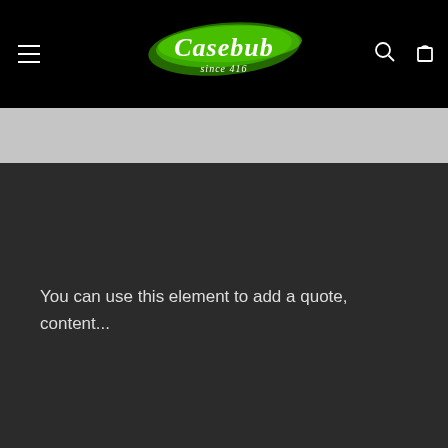Casebub since 416 [navigation header with menu, logo, search, and cart icons]
You can use this element to add a quote, content...